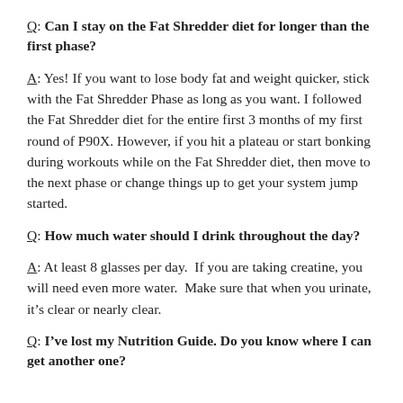Q: Can I stay on the Fat Shredder diet for longer than the first phase?
A: Yes! If you want to lose body fat and weight quicker, stick with the Fat Shredder Phase as long as you want. I followed the Fat Shredder diet for the entire first 3 months of my first round of P90X. However, if you hit a plateau or start bonking during workouts while on the Fat Shredder diet, then move to the next phase or change things up to get your system jump started.
Q: How much water should I drink throughout the day?
A: At least 8 glasses per day.  If you are taking creatine, you will need even more water.  Make sure that when you urinate, it’s clear or nearly clear.
Q: I’ve lost my Nutrition Guide. Do you know where I can get another one?